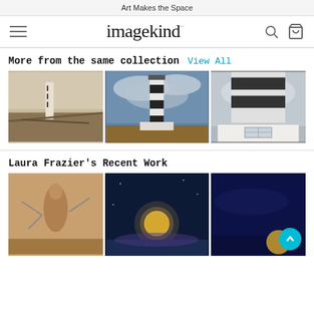Art Makes the Space
[Figure (screenshot): Imagekind website navigation bar with hamburger menu, Imagekind logo in script font, search icon, and cart icon]
More from the same collection   View All
[Figure (photo): Sepia-toned photo of a black and white striped lighthouse with driftwood in the foreground]
[Figure (photo): Color photo of a black and white striped lighthouse against a dramatic cloudy blue sky with flat brown landscape]
[Figure (photo): Close-up looking-up photo of a black and white banded lighthouse tower against cloudy sky, with white building at base]
Laura Frazier's Recent Work
[Figure (photo): Photo of a bird or animal figure against a light background with bare branches]
[Figure (photo): Night sky photo with large golden full moon rising against deep blue sky]
[Figure (photo): Deep blue night sky photo with a teal/cyan circular scroll-to-top button overlay in lower right]